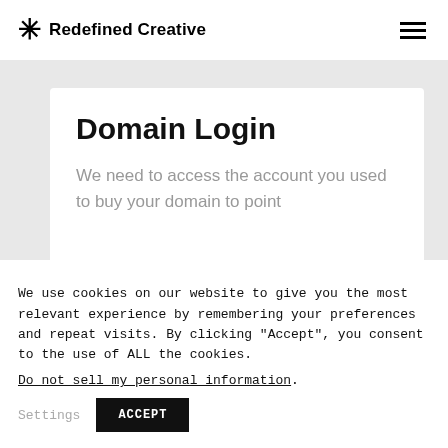Redefined Creative
Domain Login
We need to access the account you used to buy your domain to point
We use cookies on our website to give you the most relevant experience by remembering your preferences and repeat visits. By clicking "Accept", you consent to the use of ALL the cookies. Do not sell my personal information.